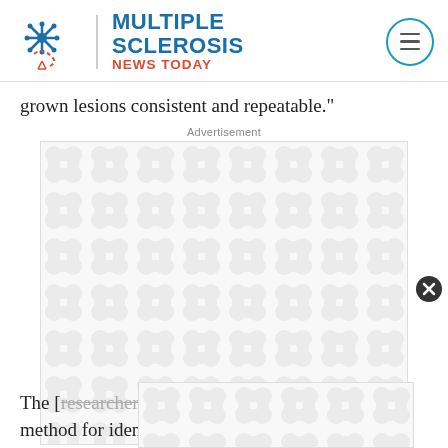MULTIPLE SCLEROSIS NEWS TODAY
grown lesions consistent and repeatable.”
Advertisement
[Figure (other): Advertisement placeholder box with decorative grey blob/circle pattern background and 'Advertisement' label at bottom, with close button (X) to the right]
[Figure (other): Second advertisement placeholder box overlapping the first]
The [researchers suggested a new validation] method for identifying lesion changes: “The major